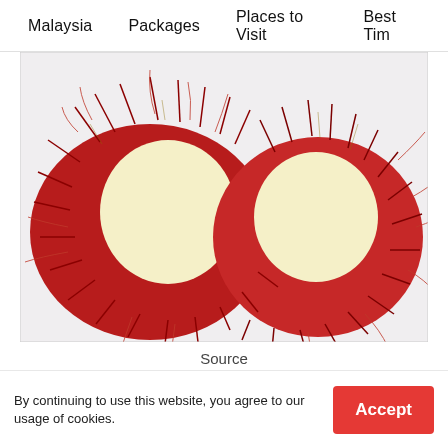Malaysia   Packages   Places to Visit   Best Tim
[Figure (photo): A rambutan fruit split open showing the white interior flesh surrounded by red spiky skin with soft hair-like tendrils, photographed on a white background.]
Source
You may crack up from what it looks on the outside but it's oh-so-good on the inside. There's a reason why it gets this name because it looks like a hairy (Rambut in Malay) giant (hutan in Malay). It's crimson skin and the snow-white color combination is eye-catching. It is a cousin of the Chinese lychee
By continuing to use this website, you agree to our usage of cookies.